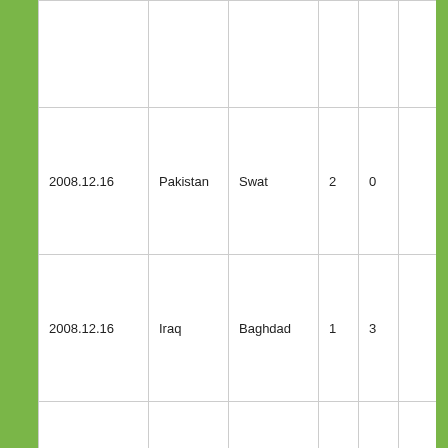| Date | Country | Location | Killed | Wounded | Description |
| --- | --- | --- | --- | --- | --- |
|  |  |  |  |  |  |
| 2008.12.16 | Pakistan | Swat | 2 | 0 |  |
| 2008.12.16 | Iraq | Baghdad | 1 | 3 |  |
| 2008.12.16 | Iraq | Mosul | 8 | 16 |  |
|  |  |  |  |  |  |